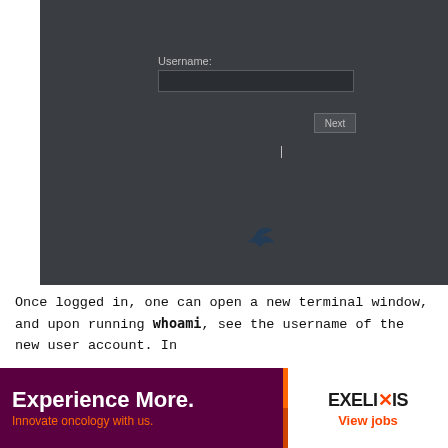[Figure (screenshot): Dark themed login/username entry dialog with a text field labeled 'Username:' and a 'Next' button on dark gray background (#3a3d42). A small bird-like cursor artifact appears near the bottom of the screenshot.]
Once logged in, one can open a new terminal window, and upon running whoami, see the username of the new user account. In
[Figure (other): Advertisement banner: left side dark purple background with white bold text 'Experience More.' and orange text 'Innovate oncology with us.' Right side white background with EXELIXIS logo and orange 'View jobs' text.]